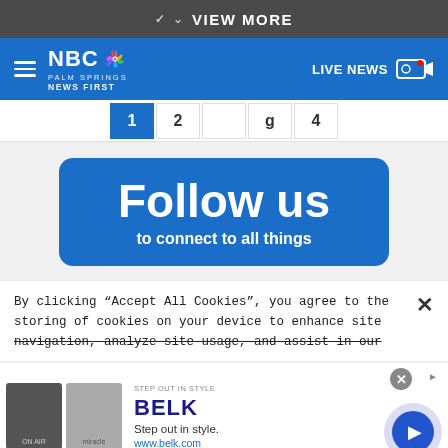VIEW MORE
[Figure (screenshot): NBC Palm Springs News First header bar with hamburger menu, NBC peacock logo, and LIVE NEWS button with camera icon]
[Figure (screenshot): Pagination row showing page buttons: 1 (active/blue), 2, blank, g, 4]
[Figure (screenshot): Follow us to connect to all things - blue rounded rectangle banner]
By clicking “Accept All Cookies”, you agree to the storing of cookies on your device to enhance site navigation, analyze site usage, and assist in our
[Figure (screenshot): BELK advertisement - Step out in style. www.belk.com with two product thumbnail images and a play button]